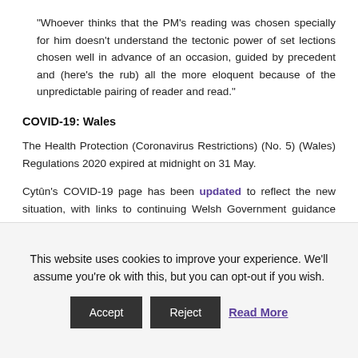“Whoever thinks that the PM’s reading was chosen specially for him doesn’t understand the tectonic power of set lections chosen well in advance of an occasion, guided by precedent and (here’s the rub) all the more eloquent because of the unpredictable pairing of reader and read.”
COVID-19: Wales
The Health Protection (Coronavirus Restrictions) (No. 5) (Wales) Regulations 2020 expired at midnight on 31 May.
Cytûn’s COVID-19 page has been updated to reflect the new situation, with links to continuing Welsh Government guidance and to other sources of advice and information
This website uses cookies to improve your experience. We’ll assume you’re ok with this, but you can opt-out if you wish.